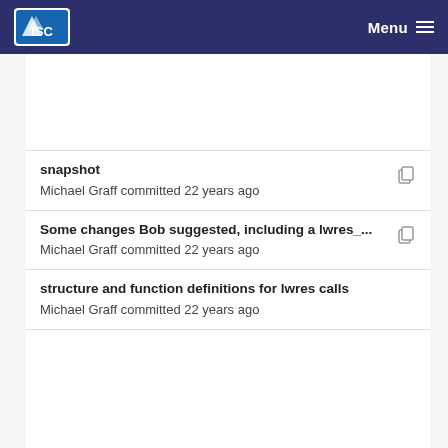ISC Menu
snapshot
Michael Graff committed 22 years ago
Some changes Bob suggested, including a lwres_...
Michael Graff committed 22 years ago
structure and function definitions for lwres calls
Michael Graff committed 22 years ago
Checkpoint yesterday's work
Michael Graff committed 22 years ago
structure and function definitions for lwres calls